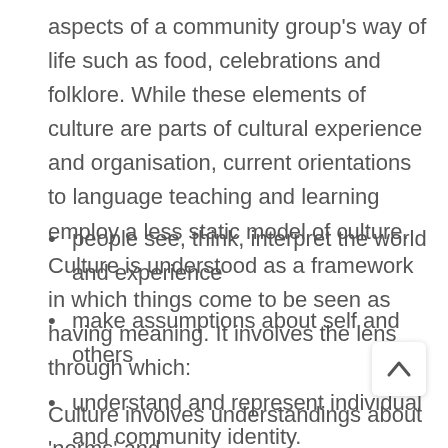aspects of a community group's way of life such as food, celebrations and folklore. While these elements of culture are parts of cultural experience and organisation, current orientations to language teaching and learning employ a less static model of culture. Culture is understood as a framework in which things come to be seen as having meaning. It involves the lens through which:
people see, think, interpret the world and experience
make assumptions about self and others
understand and represent individual and community identity.
Culture involves understandings about 'norms' and